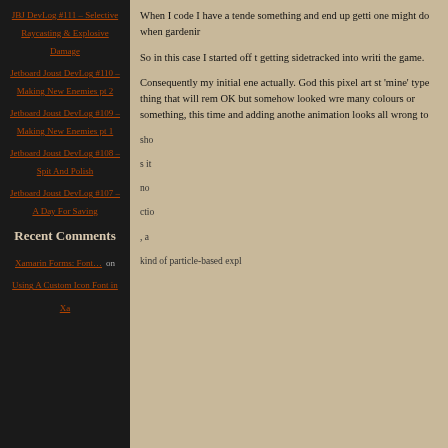JBJ DevLog #111 – Selective Raycasting & Explosive Damage
Jetboard Joust DevLog #110 – Making New Enemies pt 2
Jetboard Joust DevLog #109 – Making New Enemies pt 1
Jetboard Joust DevLog #108 – Spit And Polish
Jetboard Joust DevLog #107 – A Day For Saving
Recent Comments
Xamarin Forms: Font… on Using A Custom Icon Font in Xa
When I code I have a tende something and end up getti one might do when gardeni
So in this case I started off t getting sidetracked into writi the game.
Consequently my initial ene actually. God this pixel art st 'mine' type thing that will rem OK but somehow looked wre many colours or something, this time and adding anothe animation looks all wrong to
Privacy & Cookies: This site uses cookies. By continuing to use this website, you agree to their use.
To find out more, including how to control cookies, see here: Cookie Policy
Close and accept
Devlog #52 – Go…
kind of particle-based expl